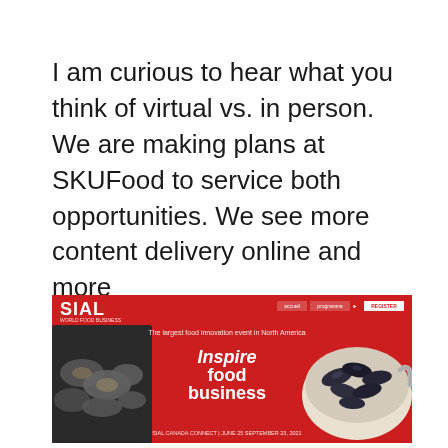I am curious to hear what you think of virtual vs. in person. We are making plans at SKUFood to service both opportunities. We see more content delivery online and more networking/motivation/team building in person. What do you think?
[Figure (other): SIAL Canada advertisement banner with red background showing oysters on the left, mussels in a bowl on the right, and text 'Inspire food business' in the center. Bottom text reads 'SIAL CANADA CONNECT | JUNE 25 SEPTEMBER 23, 2021'.]